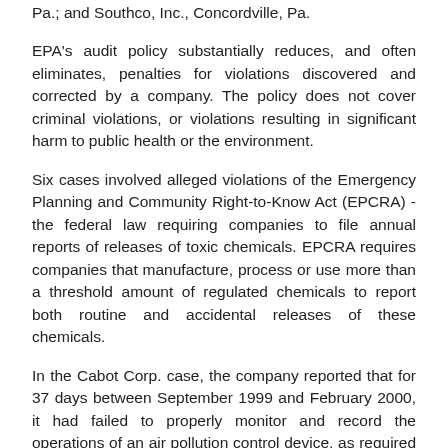Pa.; and Southco, Inc., Concordville, Pa.
EPA's audit policy substantially reduces, and often eliminates, penalties for violations discovered and corrected by a company. The policy does not cover criminal violations, or violations resulting in significant harm to public health or the environment.
Six cases involved alleged violations of the Emergency Planning and Community Right-to-Know Act (EPCRA) - the federal law requiring companies to file annual reports of releases of toxic chemicals. EPCRA requires companies that manufacture, process or use more than a threshold amount of regulated chemicals to report both routine and accidental releases of these chemicals.
In the Cabot Corp. case, the company reported that for 37 days between September 1999 and February 2000, it had failed to properly monitor and record the operations of an air pollution control device, as required by the Clean Air Act permit for the company's research and development pilot plant in Boyertown.